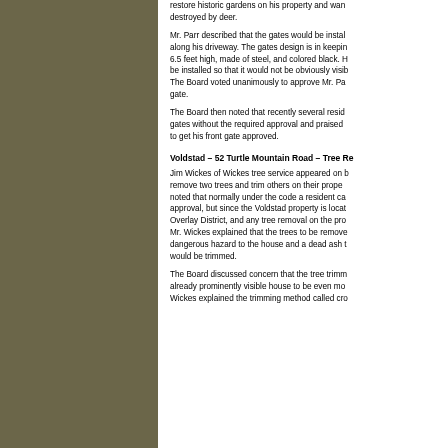restore historic gardens on his property and wanted to prevent them from being destroyed by deer.
Mr. Parr described that the gates would be installed along his driveway. The gates design is in keeping with the area: 6.5 feet high, made of steel, and colored black. He would also like it to be installed so that it would not be obviously visible from the road.
The Board voted unanimously to approve Mr. Parr's application for a front gate.
The Board then noted that recently several residents have installed front gates without the required approval and praised Mr. Parr for taking the time to get his front gate approved.
Voldstad – 52 Turtle Mountain Road – Tree Re...
Jim Wickes of Wickes tree service appeared on behalf of the Voldstads to remove two trees and trim others on their property. The Board member noted that normally under the code a resident can remove trees without approval, but since the Voldstad property is located in a Scenic Roads Overlay District, and any tree removal on the property requires Board approval.
Mr. Wickes explained that the trees to be removed are an oak that is a dangerous hazard to the house and a dead ash tree. Other trees on the property would be trimmed.
The Board discussed concern that the tree trimming would cause the already prominently visible house to be even more visible. Mr. Wickes explained the trimming method called crown...